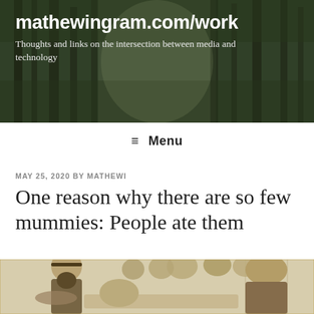mathewingram.com/work
Thoughts and links on the intersection between media and technology
≡ Menu
MAY 25, 2020 BY MATHEWI
One reason why there are so few mummies: People ate them
[Figure (illustration): A sepia-toned vintage engraving depicting a group of robed figures, some with beards and head coverings, gathered around a body lying on a surface, reminiscent of an ancient Egyptian or Middle Eastern scene.]